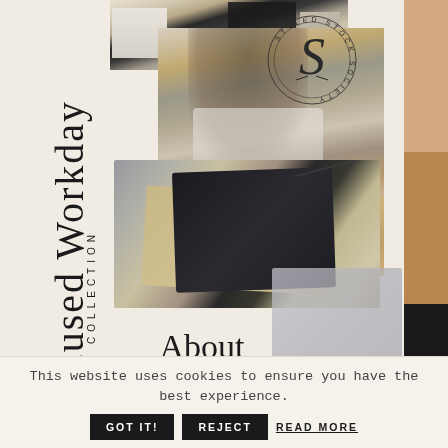[Figure (photo): Collage of workspace/workday photos: top desk scene, woman working at wooden desk writing in notebook, documents with binder clips, and brand color swatches (peach, tan, black) on right edge]
Focused Workday
COLLECTION
[Figure (logo): Styled Stock Society circular logo with letter S in center]
About
This website uses cookies to ensure you have the best experience.
GOT IT!
REJECT
READ MORE